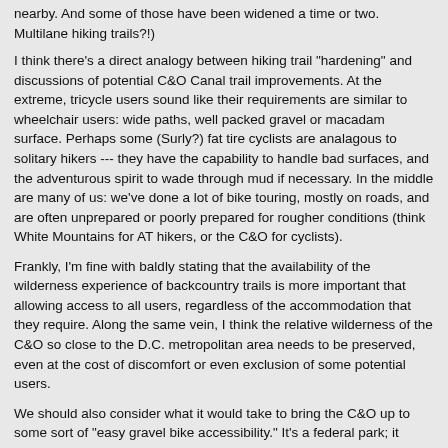nearby.  And some of those have been widened a time or two.  Multilane hiking trails?!)
I think there's a direct analogy between hiking trail "hardening" and discussions of potential C&O Canal trail improvements.  At the extreme, tricycle users sound like their requirements are similar to wheelchair users: wide paths, well packed gravel or macadam surface.  Perhaps some (Surly?) fat tire cyclists are analagous to solitary hikers --- they have the capability to handle bad surfaces, and the adventurous spirit to wade through mud if necessary.  In the middle are many of us: we've done a lot of bike touring, mostly on roads, and are often unprepared or poorly prepared for rougher conditions (think White Mountains for AT hikers, or the C&O for cyclists).
Frankly, I'm fine with baldly stating that the availability of the wilderness experience of backcountry trails is more important that allowing access to all users, regardless of the accommodation that they require.  Along the same vein, I think the relative wilderness of the C&O so close to the D.C. metropolitan area needs to be preserved, even at the cost of discomfort or even exclusion of some potential users.
We should also consider what it would take to bring the C&O up to some sort of "easy gravel bike accessibility."  It's a federal park; it would require developing federal regulations for the towpath.  (As Beltway Bandits would say privately, "Big money!  Big money!"  That would probably add 50% or more to the cost of rebuilding the